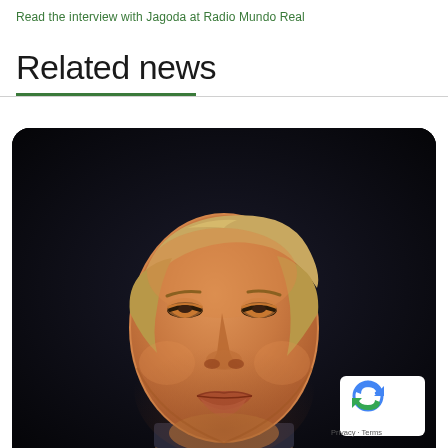Read the interview with Jagoda at Radio Mundo Real
Related news
[Figure (photo): Close-up portrait photograph of a person with blonde/grey hair looking upward, against a dark background. A Google reCAPTCHA privacy badge appears in the bottom right corner with 'Privacy · Terms' text.]